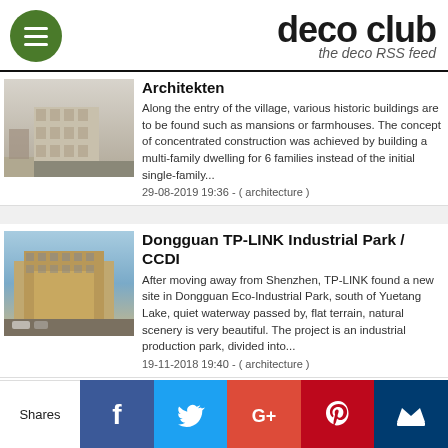deco club — the deco RSS feed
Architekten
Along the entry of the village, various historic buildings are to be found such as mansions or farmhouses. The concept of concentrated construction was achieved by building a multi-family dwelling for 6 families instead of the initial single-family...
29-08-2019 19:36 - ( architecture )
Dongguan TP-LINK Industrial Park / CCDI
After moving away from Shenzhen, TP-LINK found a new site in Dongguan Eco-Industrial Park, south of Yuetang Lake, quiet waterway passed by, flat terrain, natural scenery is very beautiful. The project is an industrial production park, divided into...
19-11-2018 19:40 - ( architecture )
Sight Unseen and HotelTonight Team up to Create a Conceptual Hotel Suite for NYCxDESIGN
This bookable + bespoke hotel suite celebrates design, color, and art...
Shares